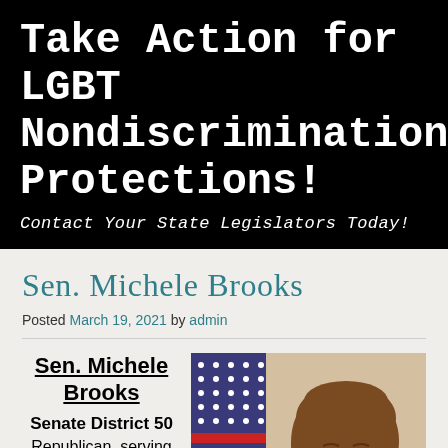Take Action for LGBT Nondiscrimination Protections!
Contact Your State Legislators Today!
Sen. Michele Brooks
Posted March 19, 2021 by admin
Sen. Michele Brooks
Senate District 50
Republican, serving
[Figure (photo): Portrait photo of Sen. Michele Brooks with an American flag in the background. She has short brown hair and is wearing a dark jacket.]